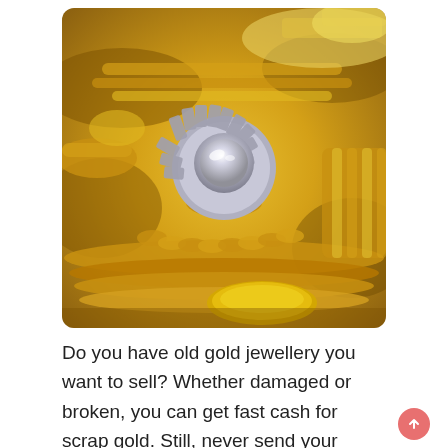[Figure (photo): Close-up photo of a pile of gold jewellery including chains, rings, coins, and a prominent diamond ring in silver setting, all glittering in gold tones.]
Do you have old gold jewellery you want to sell? Whether damaged or broken, you can get fast cash for scrap gold. Still, never send your precious metal through the mail, thinking it is a convenient process, as it can get lost in the mail. Therefore, should you sell online or to